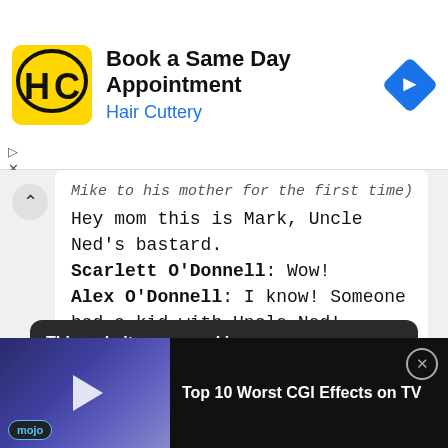[Figure (screenshot): Hair Cuttery advertisement banner with logo, title 'Book a Same Day Appointment', subtitle 'Hair Cuttery', and a blue navigation arrow icon]
Mike to his mother for the first time)
Hey mom this is Mark, Uncle Ned's bastard.
Scarlett O'Donnell: Wow!
Alex O'Donnell: I know! Someone had a kid with Uncle Ned!
This website uses cookies
We use cookies to be able to provide social media features, analyse our traffic and behaviour of the visitors on our website and for
Top 10 Worst CGI Effects on TV